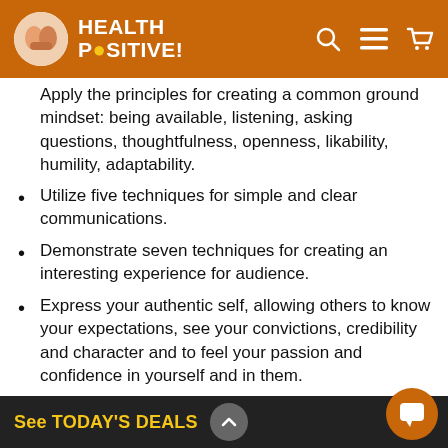HEALTH POSITIVE!
Apply the principles for creating a common ground mindset: being available, listening, asking questions, thoughtfulness, openness, likability, humility, adaptability.
Utilize five techniques for simple and clear communications.
Demonstrate seven techniques for creating an interesting experience for audience.
Express your authentic self, allowing others to know your expectations, see your convictions, credibility and character and to feel your passion and confidence in yourself and in them.
Recognize that connection is based on trust and examine how trust is built in relationships.
Examine 36 tips for building One-on-One … building Group connectio… …nnection with an audience